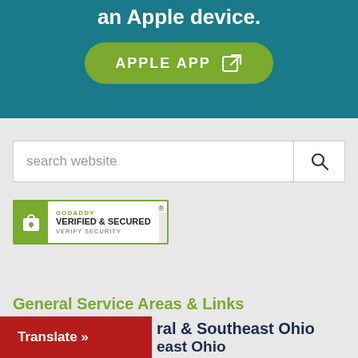an Apple device.
[Figure (other): Green rounded button labeled APPLE APP with external link icon]
[Figure (other): Search bar with placeholder text 'search website' and a search button with magnifying glass icon]
[Figure (logo): GoDaddy Verified & Secured badge with lock icon]
General Service Areas & Links
ral & Southeast Ohio
[Figure (other): Red Translate button]